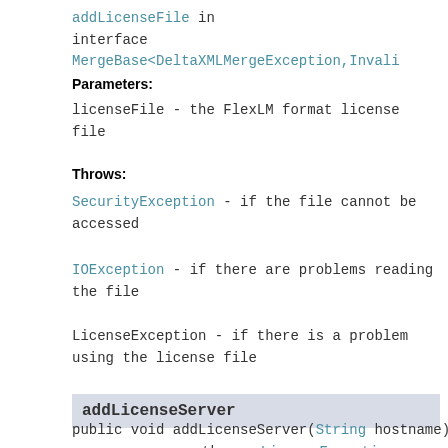addLicenseFile in interface MergeBase<DeltaXMLMergeException,Invali
Parameters:
licenseFile - the FlexLM format license file
Throws:
SecurityException - if the file cannot be accessed
IOException - if there are problems reading the file
LicenseException - if there is a problem using the license file
addLicenseServer
public void addLicenseServer(String hostname) throws LicenseException
Adds a license server for use with concurrent licensing.